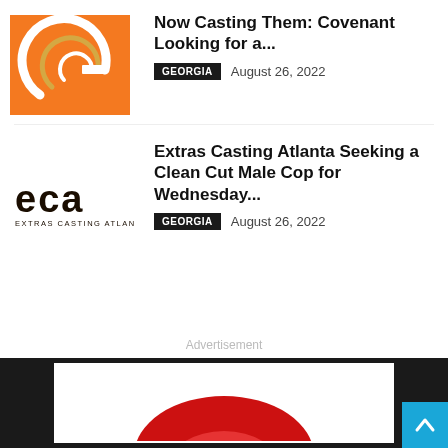[Figure (logo): Orange square logo with a stylized G/C concentric arc design in white/gold on orange background]
Now Casting Them: Covenant Looking for a...
GEORGIA  August 26, 2022
[Figure (logo): Extras Casting Atlanta (eca) logo — black text on white background with 'EXTRAS CASTING ATLANTA' written below]
Extras Casting Atlanta Seeking a Clean Cut Male Cop for Wednesday...
GEORGIA  August 26, 2022
Advertisement
[Figure (logo): Partially visible red logo at the bottom of the page on dark footer background]